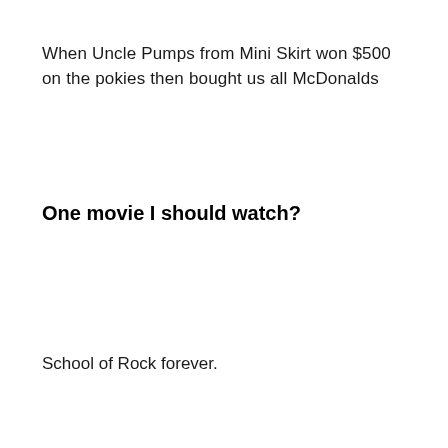When Uncle Pumps from Mini Skirt won $500 on the pokies then bought us all McDonalds
One movie I should watch?
School of Rock forever.